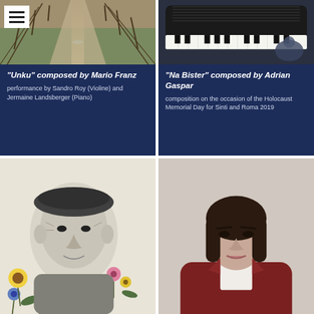[Figure (photo): Sepia-toned photo of a dirt road between fence posts leading into the distance with green fields]
“Unku” composed by Mario Franz
performance by Sandro Roy (Violine) and Jermaine Landsberger (Piano)
[Figure (photo): Overhead photo of a person playing a grand piano, view from above showing keyboard and piano body]
“Na Bister” composed by Adrian Gaspar
composition on the occasion of the Holocaust Memorial Day for Sinti and Roma 2019
[Figure (illustration): Pencil/charcoal illustration of an elderly man wearing a beret surrounded by colorful wildflowers]
[Figure (photo): Portrait photo of a young woman with dark hair wearing a dark red/burgundy blazer against a light background]